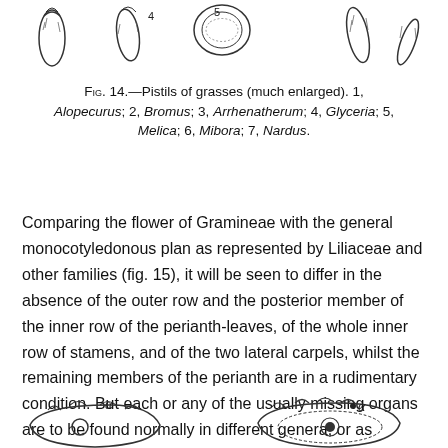[Figure (illustration): Top portion of botanical illustration showing pistils of grasses (much enlarged): Alopecurus, Bromus, Arrhenatherum, Glyceria, Melica, Mibora, Nardus. Numbers 4 and 5 visible next to corresponding pistil drawings.]
Fig. 14.—Pistils of grasses (much enlarged). 1, Alopecurus; 2, Bromus; 3, Arrhenatherum; 4, Glyceria; 5, Melica; 6, Mibora; 7, Nardus.
Comparing the flower of Gramineae with the general monocotyledonous plan as represented by Liliaceae and other families (fig. 15), it will be seen to differ in the absence of the outer row and the posterior member of the inner row of the perianth-leaves, of the whole inner row of stamens, and of the two lateral carpels, whilst the remaining members of the perianth are in a rudimentary condition. But each or any of the usually missing organs are to be found normally in different genera, or as occasional developments.
[Figure (illustration): Bottom portion of botanical diagrams showing cross-sectional flower diagrams with labels including alpha symbols and circle/dot markings, representing floral plans of grass flowers.]